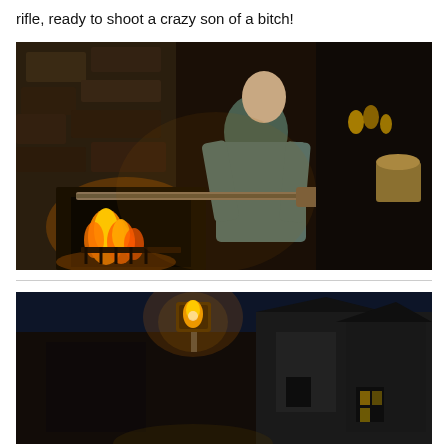rifle, ready to shoot a crazy son of a bitch!
[Figure (photo): A person in period clothing holding a long rifle, standing in a dark stone room with a fireplace burning on the left side. The scene appears to be from a historical TV show or film.]
[Figure (photo): A nighttime outdoor scene showing a torch or lantern mounted on a wall, with buildings visible in the background under a dark blue sky. Appears to be a period setting from a TV show or film.]